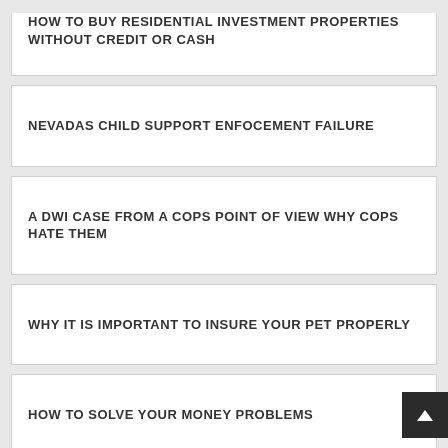HOW TO BUY RESIDENTIAL INVESTMENT PROPERTIES WITHOUT CREDIT OR CASH
NEVADAS CHILD SUPPORT ENFOCEMENT FAILURE
A DWI CASE FROM A COPS POINT OF VIEW WHY COPS HATE THEM
WHY IT IS IMPORTANT TO INSURE YOUR PET PROPERLY
HOW TO SOLVE YOUR MONEY PROBLEMS